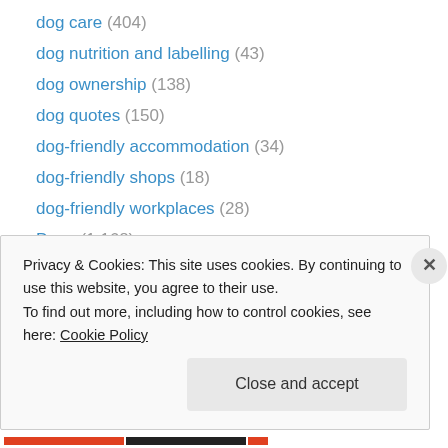dog care (404)
dog nutrition and labelling (43)
dog ownership (138)
dog quotes (150)
dog-friendly accommodation (34)
dog-friendly shops (18)
dog-friendly workplaces (28)
Dogs (1,168)
dogs and families (10)
dogs and holidays (43)
dogs and mourning (21)
dogs in advertising (35)
ethics and pet rights (5)
Privacy & Cookies: This site uses cookies. By continuing to use this website, you agree to their use. To find out more, including how to control cookies, see here: Cookie Policy
Close and accept